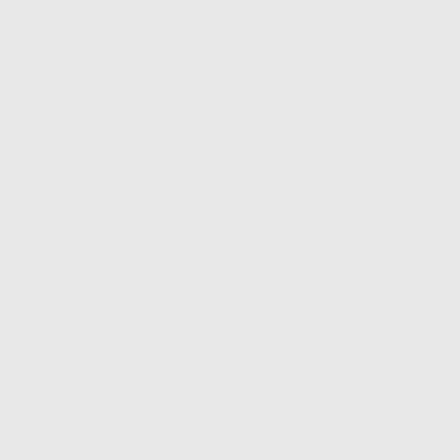fickleness of their wills, and t always, and at all times, and i yet as all this is before the Lor to call this backsliding, as we as we conceive by the term ba as have gone, or are going off, ordinances, and are fallen into as these, if any of us here pres sentence in it, are most suitabl iniquity; it is of themselves. T verge of departure from the Lo from God cannot be recovered contains the evil in the act; ye God, or any of the children of expressly suited to be balm to an encouragement for their ret fallen by thine iniquity. Even t backslidden from the Lord. He other way, O man, for thy bac heart hath been in it. I am und influ, ence of it. I cannot lift m art, who speakest thus, thou sp